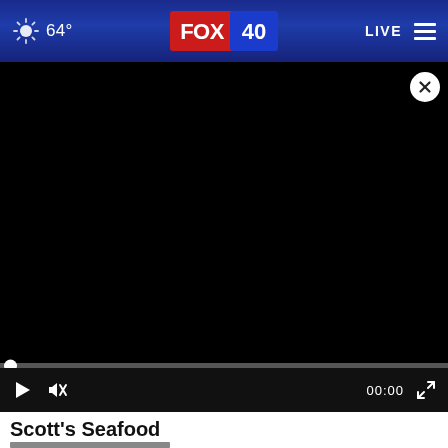64° FOX 40 LIVE
[Figure (screenshot): FOX 40 website screenshot showing a video player with black video area, playback controls (play, mute, time 00:00, fullscreen), a progress bar, and a close (X) button. Below the player is the title 'Scott's Seafood' and the beginning of a thumbnail strip.]